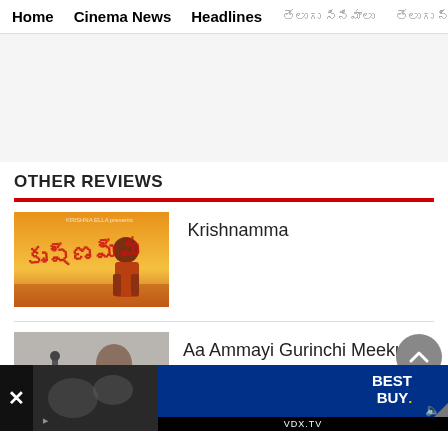Home  Cinema News  Headlines  [Telugu] [Telugu]
[Figure (other): Advertisement placeholder area (blank grey rectangle)]
OTHER REVIEWS
[Figure (photo): Krishnamma movie poster - Telugu film, showing a man in a red shirt against a warm sunset background with Telugu title text]
Krishnamma
[Figure (photo): Movie thumbnail showing #SUDHEER14 promotional image with a man and text 'UNVEIL THE SURPRISE']
Aa Ammayi Gurinchi Meeku Cheppali
[Figure (other): Bottom advertisement banner showing Best Buy logo and VDX.TV ad unit with video preview]